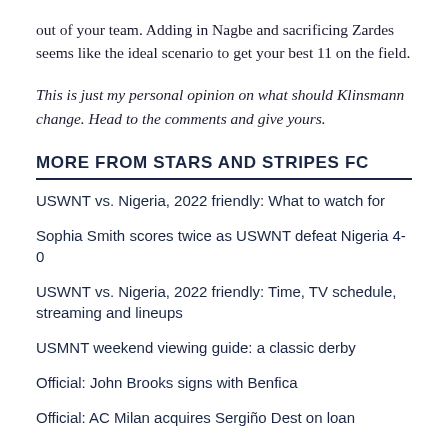out of your team. Adding in Nagbe and sacrificing Zardes seems like the ideal scenario to get your best 11 on the field.
This is just my personal opinion on what should Klinsmann change. Head to the comments and give yours.
MORE FROM STARS AND STRIPES FC
USWNT vs. Nigeria, 2022 friendly: What to watch for
Sophia Smith scores twice as USWNT defeat Nigeria 4-0
USWNT vs. Nigeria, 2022 friendly: Time, TV schedule, streaming and lineups
USMNT weekend viewing guide: a classic derby
Official: John Brooks signs with Benfica
Official: AC Milan acquires Sergiño Dest on loan